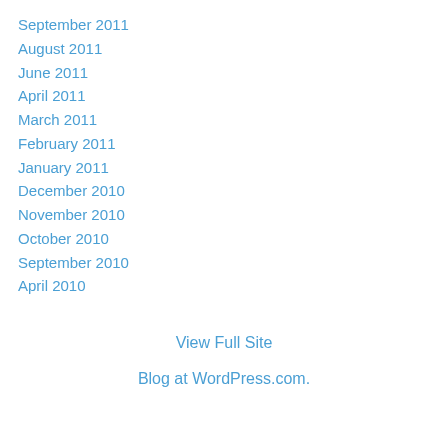September 2011
August 2011
June 2011
April 2011
March 2011
February 2011
January 2011
December 2010
November 2010
October 2010
September 2010
April 2010
View Full Site
Blog at WordPress.com.